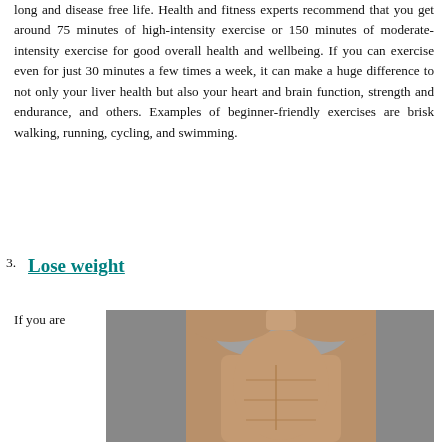long and disease free life. Health and fitness experts recommend that you get around 75 minutes of high-intensity exercise or 150 minutes of moderate-intensity exercise for good overall health and wellbeing. If you can exercise even for just 30 minutes a few times a week, it can make a huge difference to not only your liver health but also your heart and brain function, strength and endurance, and others. Examples of beginner-friendly exercises are brisk walking, running, cycling, and swimming.
3. Lose weight
If you are
[Figure (photo): A woman in a grey sports bra showing her midsection and torso, photographed against a grey background, illustrating fitness and weight loss.]